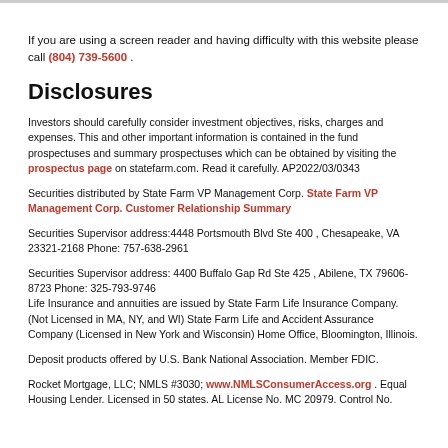If you are using a screen reader and having difficulty with this website please call (804) 739-5600 .
Disclosures
Investors should carefully consider investment objectives, risks, charges and expenses. This and other important information is contained in the fund prospectuses and summary prospectuses which can be obtained by visiting the prospectus page on statefarm.com. Read it carefully. AP2022/03/0343
Securities distributed by State Farm VP Management Corp. State Farm VP Management Corp. Customer Relationship Summary
Securities Supervisor address:4448 Portsmouth Blvd Ste 400 , Chesapeake, VA 23321-2168 Phone: 757-638-2961
Securities Supervisor address: 4400 Buffalo Gap Rd Ste 425 , Abilene, TX 79606-8723 Phone: 325-793-9746
Life Insurance and annuities are issued by State Farm Life Insurance Company. (Not Licensed in MA, NY, and WI) State Farm Life and Accident Assurance Company (Licensed in New York and Wisconsin) Home Office, Bloomington, Illinois.
Deposit products offered by U.S. Bank National Association. Member FDIC.
Rocket Mortgage, LLC; NMLS #3030; www.NMLSConsumerAccess.org . Equal Housing Lender. Licensed in 50 states. AL License No. MC 20979. Control No.